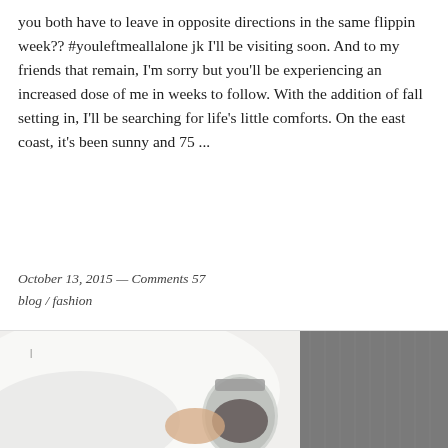you both have to leave in opposite directions in the same flippin week?? #youleftmeallalone jk I'll be visiting soon. And to my friends that remain, I'm sorry but you'll be experiencing an increased dose of me in weeks to follow. With the addition of fall setting in, I'll be searching for life's little comforts. On the east coast, it's been sunny and 75 ...
October 13, 2015 — Comments 57
blog / fashion
[Figure (photo): Partial photo showing a person holding a glass jar, wearing a white garment and grey knit sleeve, cropped at bottom of page]